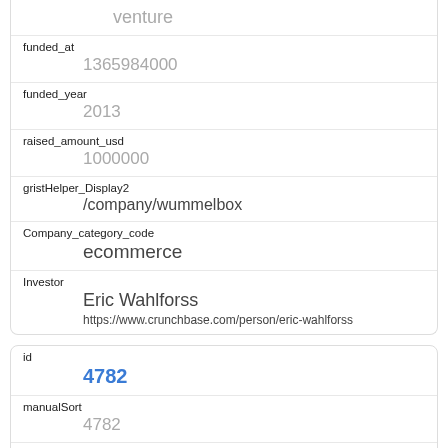| Field | Value |
| --- | --- |
| (type) | venture |
| funded_at | 1365984000 |
| funded_year | 2013 |
| raised_amount_usd | 1000000 |
| gristHelper_Display2 | /company/wummelbox |
| Company_category_code | ecommerce |
| Investor | Eric Wahlforss
https://www.crunchbase.com/person/eric-wahlforss |
| Field | Value |
| --- | --- |
| id | 4782 |
| manualSort | 4782 |
| Company | 1464 |